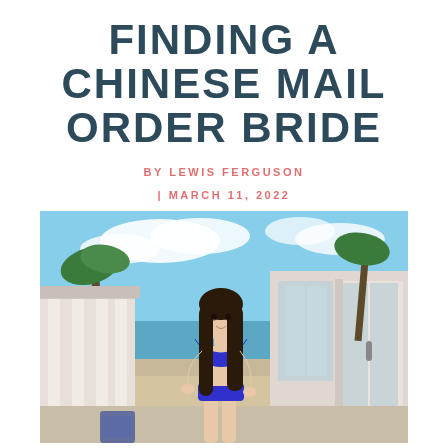FINDING A CHINESE MAIL ORDER BRIDE
BY LEWIS FERGUSON
| MARCH 11, 2022
[Figure (photo): A young woman with long dark hair wearing a blue bikini, standing in front of a building with glass doors, with a tropical beach scene and palm trees visible in the background under a blue sky.]